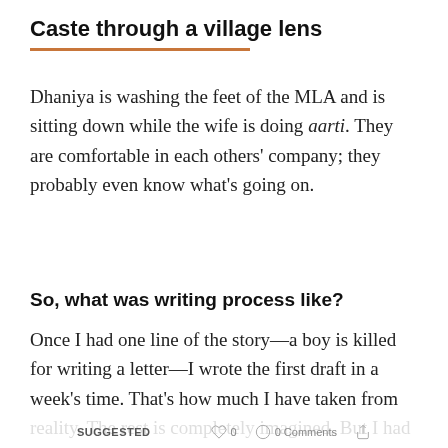Caste through a village lens
Dhaniya is washing the feet of the MLA and is sitting down while the wife is doing aarti. They are comfortable in each others' company; they probably even know what's going on.
So, what was writing process like?
Once I had one line of the story—a boy is killed for writing a letter—I wrote the first draft in a week's time. That's how much I have taken from reality. The rest is completely imagined. But I had no way to understand
SUGGESTED  0  0 Comments